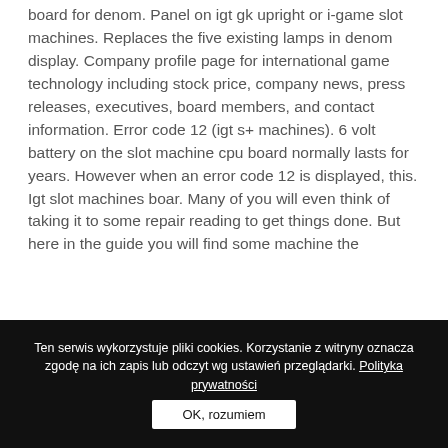board for denom. Panel on igt gk upright or i-game slot machines. Replaces the five existing lamps in denom display. Company profile page for international game technology including stock price, company news, press releases, executives, board members, and contact information. Error code 12 (igt s+ machines). 6 volt battery on the slot machine cpu board normally lasts for years. However when an error code 12 is displayed, this. Igt slot machines boar. Many of you will even think of taking it to some repair reading to get things done. But here in the guide you will find some machine the
[Figure (screenshot): Winners panel showing LATEST WINNERS and TOP WINNERS sections with game thumbnails and winner details]
Ten serwis wykorzystuje pliki cookies. Korzystanie z witryny oznacza zgodę na ich zapis lub odczyt wg ustawień przeglądarki. Polityka prywatności  OK, rozumiem